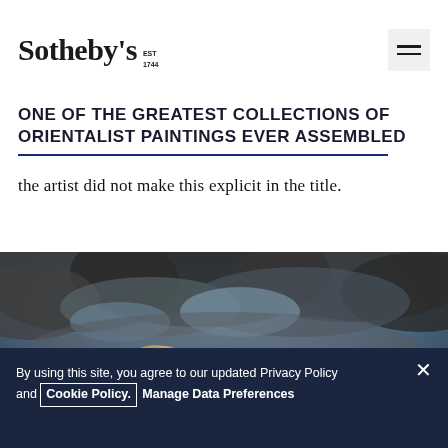Sotheby's EST 1744
ONE OF THE GREATEST COLLECTIONS OF ORIENTALIST PAINTINGS EVER ASSEMBLED
the artist did not make this explicit in the title.
[Figure (photo): Orientalist painting showing riders on horseback amid dramatic stormy sky with dark clouds and blue tones; figures in flowing robes]
By using this site, you agree to our updated Privacy Policy and Cookie Policy. Manage Data Preferences